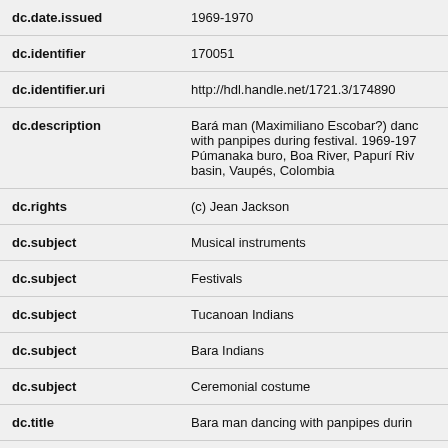| Field | Value |
| --- | --- |
| dc.date.issued | 1969-1970 |
| dc.identifier | 170051 |
| dc.identifier.uri | http://hdl.handle.net/1721.3/174890 |
| dc.description | Bará man (Maximiliano Escobar?) dancing with panpipes during festival. 1969-1970. Púmanaka buro, Boa River, Papurí River basin, Vaupés, Colombia |
| dc.rights | (c) Jean Jackson |
| dc.subject | Musical instruments |
| dc.subject | Festivals |
| dc.subject | Tucanoan Indians |
| dc.subject | Bara Indians |
| dc.subject | Ceremonial costume |
| dc.title | Bara man dancing with panpipes during... |